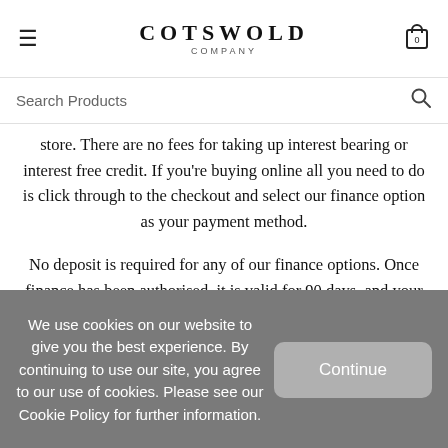COTSWOLD COMPANY
Search Products
store. There are no fees for taking up interest bearing or interest free credit. If you're buying online all you need to do is click through to the checkout and select our finance option as your payment method.
No deposit is required for any of our finance options. Once finance has been authorised, it is valid for 90 days, and your first instalment will be payable approximately 30 days after
We use cookies on our website to give you the best experience. By continuing to use our site, you agree to our use of cookies. Please see our Cookie Policy for further information.